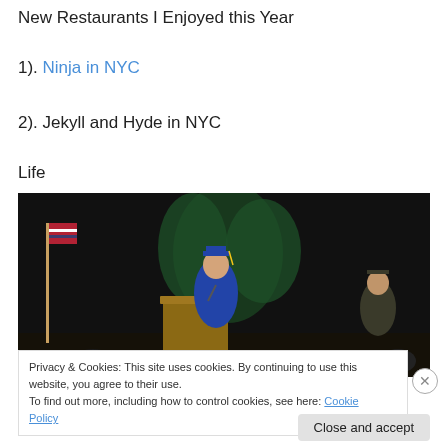New Restaurants I Enjoyed this Year
1). Ninja in NYC
2). Jekyll and Hyde in NYC
Life
[Figure (photo): A graduation ceremony scene: a person in blue cap and gown speaking at a podium with a microphone, an American flag on the left, a large green palm plant in the background, and another person in graduation attire visible at the right edge. Dark black backdrop.]
Privacy & Cookies: This site uses cookies. By continuing to use this website, you agree to their use.
To find out more, including how to control cookies, see here: Cookie Policy
Close and accept